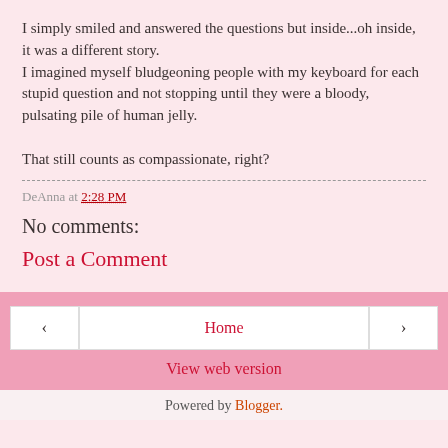I simply smiled and answered the questions but inside...oh inside, it was a different story.
I imagined myself bludgeoning people with my keyboard for each stupid question and not stopping until they were a bloody, pulsating pile of human jelly.

That still counts as compassionate, right?
DeAnna at 2:28 PM
No comments:
Post a Comment
< Home > View web version Powered by Blogger.